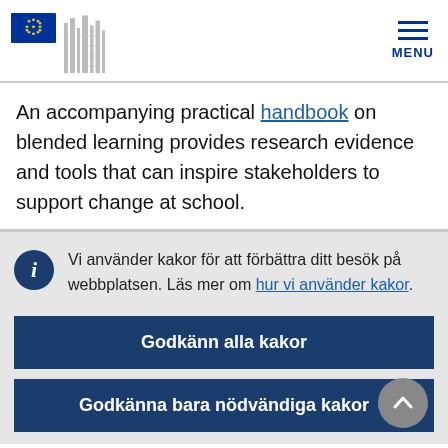[Figure (logo): European Commission logo with EU flag and building silhouette]
An accompanying practical handbook on blended learning provides research evidence and tools that can inspire stakeholders to support change at school.
Vi använder kakor för att förbättra ditt besök på webbplatsen. Läs mer om hur vi använder kakor.
Godkänn alla kakor
Godkänna bara nödvändiga kakor